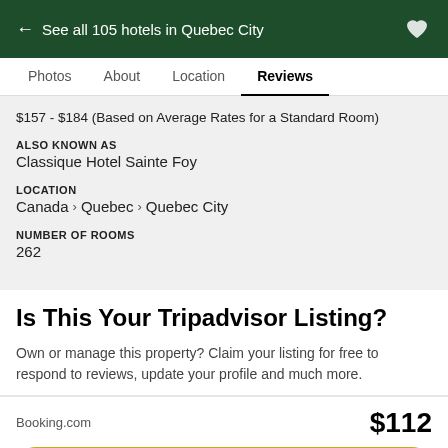← See all 105 hotels in Quebec City
Photos   About   Location   Reviews
$157 - $184 (Based on Average Rates for a Standard Room)
ALSO KNOWN AS
Classique Hotel Sainte Foy
LOCATION
Canada > Quebec > Quebec City
NUMBER OF ROOMS
262
Is This Your Tripadvisor Listing?
Own or manage this property? Claim your listing for free to respond to reviews, update your profile and much more.
Booking.com   $112
View deal